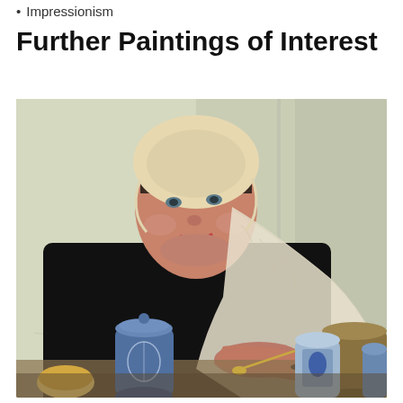Impressionism
Further Paintings of Interest
[Figure (photo): An Impressionist-style oil painting of an elderly woman dressed in black with a white lace shawl/scarf around her head and shoulders, seated at a table with blue and white ceramic tea/coffee pots and cups in the foreground. The background is a muted light green-grey wall.]